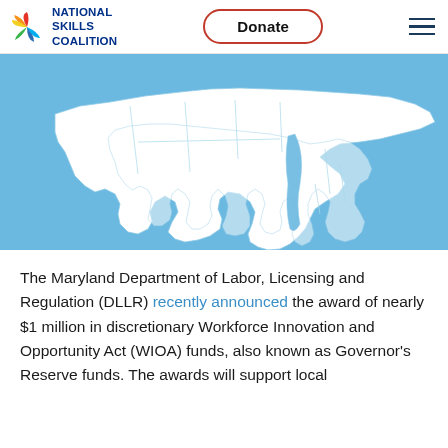National Skills Coalition | Donate
[Figure (map): White silhouette map of Maryland showing county boundaries and Chesapeake Bay, on a light blue background]
The Maryland Department of Labor, Licensing and Regulation (DLLR) recently announced the award of nearly $1 million in discretionary Workforce Innovation and Opportunity Act (WIOA) funds, also known as Governor's Reserve funds. The awards will support local